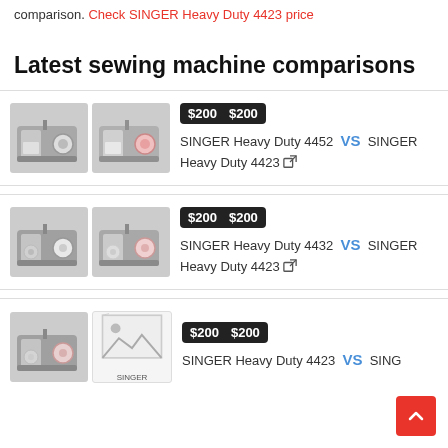comparison. Check SINGER Heavy Duty 4423 price
Latest sewing machine comparisons
$200  $200  SINGER Heavy Duty 4452 VS SINGER Heavy Duty 4423
$200  $200  SINGER Heavy Duty 4432 VS SINGER Heavy Duty 4423
$200  $200  SINGER Heavy Duty 4423 VS SING...